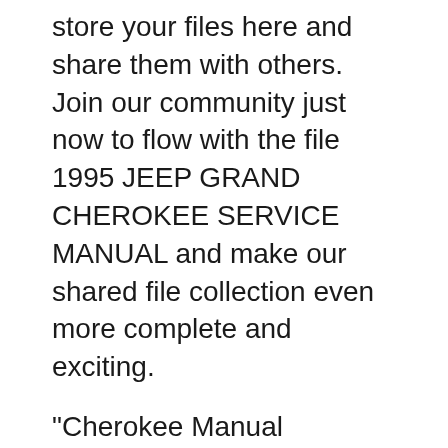store your files here and share them with others. Join our community just now to flow with the file 1995 JEEP GRAND CHEROKEE SERVICE MANUAL and make our shared file collection even more complete and exciting.
"Cherokee Manual Download Free" downloads. Jeep Grand Cherokee 2008 Wk Parts Manual. Jeep Grand Cherokee 2008 WK Parts Manual Download! Jeep Grand Cherokee 1995 Factory Service Manual Download! This Jeep Grand Cherokee 1995 Automobile / Car manual is a... Download. 21.95 USD Jeep Grand Cherokee Laredo & Limited 2wd 4wd Models Complete Sep 23, 2013B B· SOURCE: I am looking for a